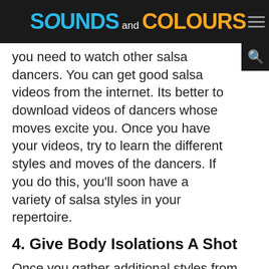SOUNDS and COLOURS
you need to watch other salsa dancers. You can get good salsa videos from the internet. Its better to download videos of dancers whose moves excite you. Once you have your videos, try to learn the different styles and moves of the dancers. If you do this, you'll soon have a variety of salsa styles in your repertoire.
4. Give Body Isolations A Shot
Once you gather additional styles from other dancers, you need to practice body isolations. This entails standing before a mirror and moving your body parts, one at a time. As you do this, ensure you isolate the movements no matter how slow you're. It's advisable to use slow cha-cha music when taking each eight counts. Begin with your shoulders, then move to your hips and